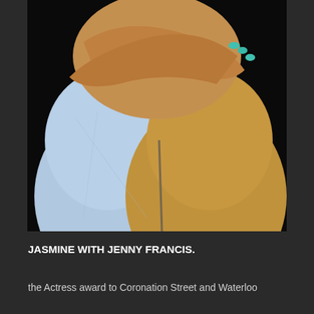[Figure (photo): Two women hugging each other. One wears a light blue dress, the other wears a yellow/mustard dress. Their arms are wrapped around each other. The background is dark/black.]
JASMINE WITH JENNY FRANCIS.
the Actress award to Coronation Street and Waterloo